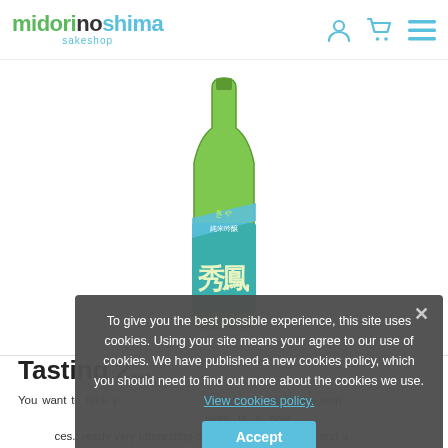midorinoshima sakeshop
[Figure (photo): Green sake bottle with teal and green label featuring Japanese characters (Shuho Junmai Ginjo), displayed against white background]
Tasting 2...
You want to take your guests on a trip through the sake world and to make a nice selection? Here is a selection of 2 reference sakes... already very interesting overview with a Junmai and a Junmai Ginjo. Remember to download the tec... sheets in pdf format below!
To give you the best possible experience, this site uses cookies. Using your site means your agree to our use of cookies. We have published a new cookies policy, which you should need to find out more about the cookies we use. View cookies policy.